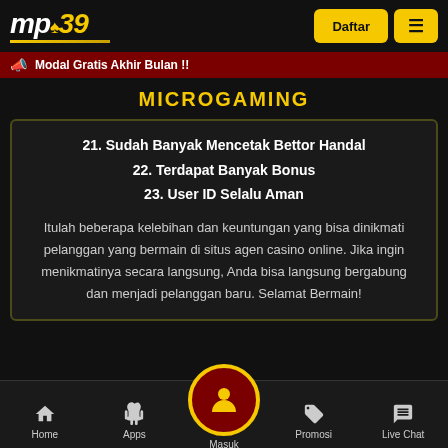[Figure (logo): MPO39 logo with spade symbol, white and yellow text on black background]
Modal Gratis Akhir Bulan !!
MICROGAMING
21. Sudah Banyak Mencetak Bettor Handal
22. Terdapat Banyak Bonus
23. User ID Selalu Aman
Itulah beberapa kelebihan dan keuntungan yang bisa dinikmati pelanggan yang bermain di situs agen casino online. Jika ingin menikmatinya secara langsung, Anda bisa langsung bergabung dan menjadi pelanggan baru. Selamat Bermain!
Home | Apps | Masuk | Promosi | Live Chat